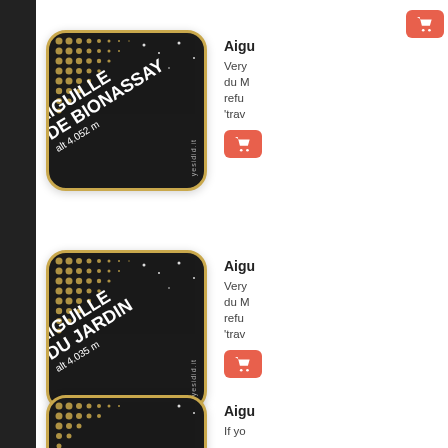[Figure (photo): Product badge pin for Aiguille de Bionassay, black with gold border, alt 4.052m, yesidid.it branding, with dot pattern decoration]
Aiguille de Bionassay - Very ... du M... refu... 'trav...
[Figure (photo): Product badge pin for Aiguille du Jardin, black with gold border, alt 4.035m, yesidid.it branding, with dot pattern decoration]
Aiguille du Jardin - Very ... du M... refu... 'trav...
[Figure (photo): Product badge pin for Aiguille (partial, third item), black with gold border, yesidid.it branding, with dot pattern decoration]
Aiguille - If yo...